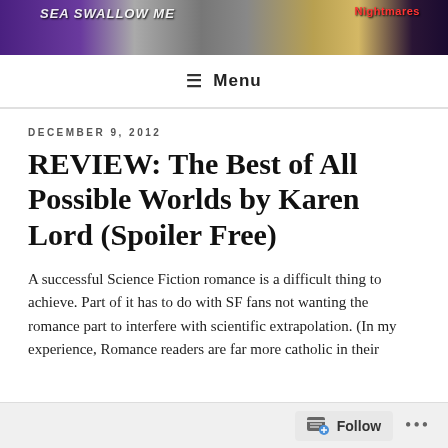[Figure (photo): Website header banner image showing book covers with purple, grey, and golden tones. Partially visible text including 'Nightmares' on the right side.]
≡ Menu
DECEMBER 9, 2012
REVIEW: The Best of All Possible Worlds by Karen Lord (Spoiler Free)
A successful Science Fiction romance is a difficult thing to achieve. Part of it has to do with SF fans not wanting the romance part to interfere with scientific extrapolation. (In my experience, Romance readers are far more catholic in their